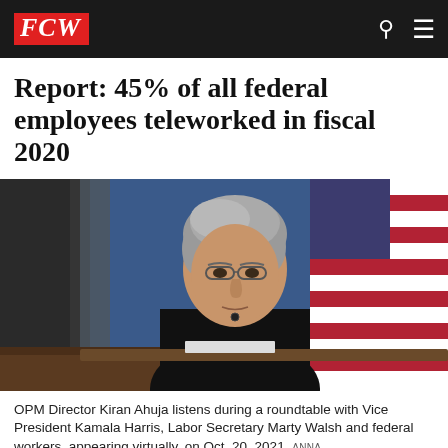FCW
Report: 45% of all federal employees teleworked in fiscal 2020
[Figure (photo): OPM Director Kiran Ahuja seated at a desk in front of an American flag and blue background, wearing a black sleeveless top and glasses with gray hair]
OPM Director Kiran Ahuja listens during a roundtable with Vice President Kamala Harris, Labor Secretary Marty Walsh and federal workers, appearing virtually, on Oct. 20, 2021. ANNA MONEYMAKER/GETTY IMAGES